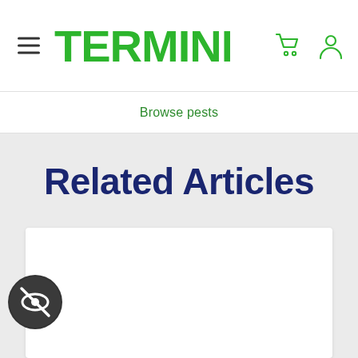TERMINIX
Browse pests
Related Articles
[Figure (screenshot): White article card placeholder with eye-slash icon overlay in bottom-left corner]